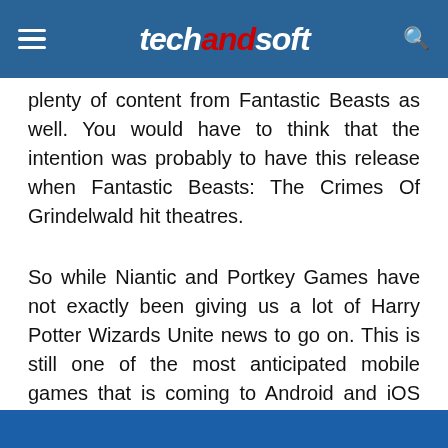techandsoft
plenty of content from Fantastic Beasts as well. You would have to think that the intention was probably to have this release when Fantastic Beasts: The Crimes Of Grindelwald hit theatres.
So while Niantic and Portkey Games have not exactly been giving us a lot of Harry Potter Wizards Unite news to go on. This is still one of the most anticipated mobile games that is coming to Android and iOS next year.